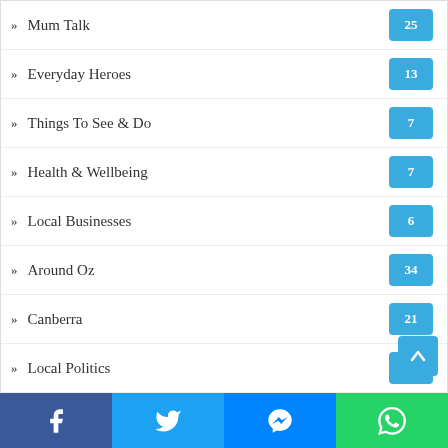Mum Talk 25
Everyday Heroes 13
Things To See & Do 7
Health & Wellbeing 7
Local Businesses 6
Around Oz 34
Canberra 21
Local Politics 1
Brisbane 12
Sydney 1